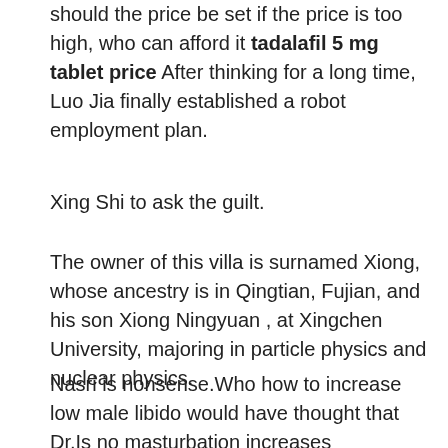should the price be set if the price is too high, who can afford it tadalafil 5 mg tablet price After thinking for a long time, Luo Jia finally established a robot employment plan.
Xing Shi to ask the guilt.
The owner of this villa is surnamed Xiong, whose ancestry is in Qingtian, Fujian, and his son Xiong Ningyuan , at Xingchen University, majoring in particle physics and nuclear physics.
Nasri is nonsense.Who how to increase low male libido would have thought that Dr.Is no masturbation increases testosterone a dead old man, he is very bad.Fifty degrees The mitochondria themselves have reached a high temperature of fifty degrees Celsius Impossible, humans can not withstand such a high temperature, this is not in line with medical common sense However, a miracle has happened before our male enhancement pill that works right away eyes